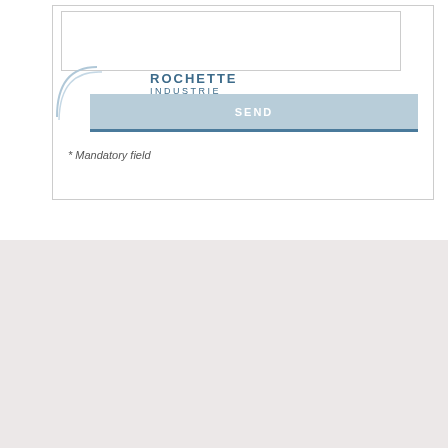[Figure (screenshot): Rochette Industrie website contact form with textarea, SEND button, and mandatory field note]
* Mandatory field
ROCHETTE INDUSTRIE
RUE CHARLES NICOLLE
34500 BEZIERS
© ROCHETTE INDUSTRIE - 2018
Legal Notice